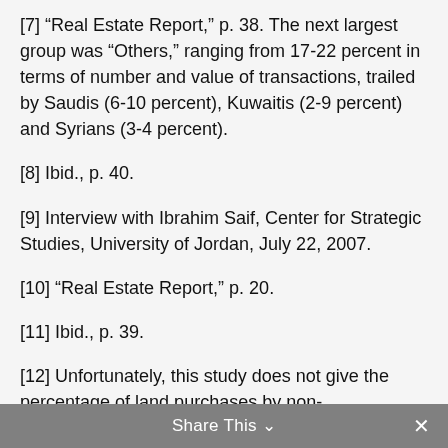[7] “Real Estate Report,” p. 38. The next largest group was “Others,” ranging from 17-22 percent in terms of number and value of transactions, trailed by Saudis (6-10 percent), Kuwaitis (2-9 percent) and Syrians (3-4 percent).
[8] Ibid., p. 40.
[9] Interview with Ibrahim Saif, Center for Strategic Studies, University of Jordan, July 22, 2007.
[10] “Real Estate Report,” p. 20.
[11] Ibid., p. 39.
[12] Unfortunately, this study does not give the percentage of land purchases by non-